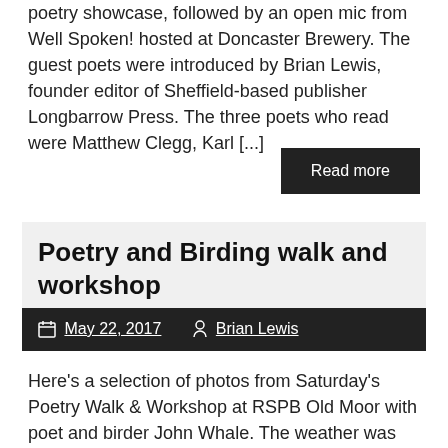poetry showcase, followed by an open mic from Well Spoken! hosted at Doncaster Brewery. The guest poets were introduced by Brian Lewis, founder editor of Sheffield-based publisher Longbarrow Press. The three poets who read were Matthew Clegg, Karl [...]
Read more
Poetry and Birding walk and workshop
May 22, 2017   Brian Lewis
Here's a selection of photos from Saturday's Poetry Walk & Workshop at RSPB Old Moor with poet and birder John Whale. The weather was kind, as were the people. We hope to make more events like this in the future. See the Festival page for details of what's coming up in June 2017.